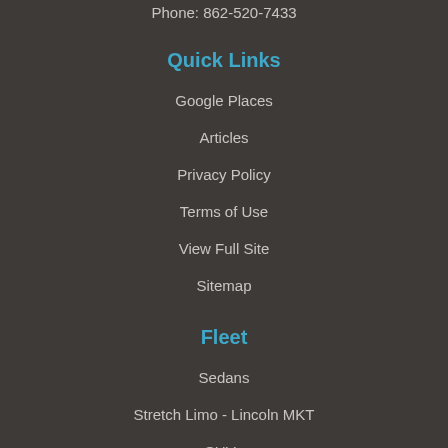Phone: 862-520-7433
Quick Links
Google Places
Articles
Privacy Policy
Terms of Use
View Full Site
Sitemap
Fleet
Sedans
Stretch Limo - Lincoln MKT
SUVs
Stretch Limousines